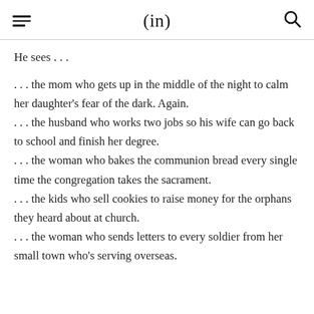(in)
He sees . . .
. . . the mom who gets up in the middle of the night to calm her daughter's fear of the dark. Again.
. . . the husband who works two jobs so his wife can go back to school and finish her degree.
. . . the woman who bakes the communion bread every single time the congregation takes the sacrament.
. . . the kids who sell cookies to raise money for the orphans they heard about at church.
. . . the woman who sends letters to every soldier from her small town who's serving overseas.